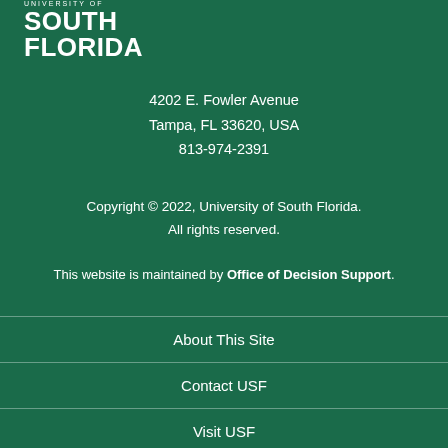[Figure (logo): University of South Florida logo with 'UNIVERSITY OF' in small caps above 'SOUTH FLORIDA' in large bold white text on dark green background]
4202 E. Fowler Avenue
Tampa, FL 33620, USA
813-974-2391
Copyright © 2022, University of South Florida.
All rights reserved.
This website is maintained by Office of Decision Support.
About This Site
Contact USF
Visit USF
Diversity